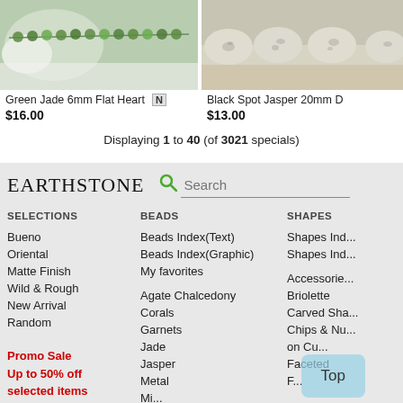[Figure (photo): Green jade beads photo - left product]
[Figure (photo): Black spot jasper beads photo - right product]
Green Jade 6mm Flat Heart
$16.00
Black Spot Jasper 20mm D
$13.00
Displaying 1 to 40 (of 3021 specials)
EARTHSTONE
Search
SELECTIONS
Bueno
Oriental
Matte Finish
Wild & Rough
New Arrival
Random
Promo Sale
Up to 50% off
selected items
BEADS
Beads Index(Text)
Beads Index(Graphic)
My favorites
Agate Chalcedony
Corals
Garnets
Jade
Jasper
Metal
SHAPES
Shapes Ind...
Shapes Ind...
Accessories
Briolette
Carved Sha...
Chips & Nu...
on Cu...
Faceted